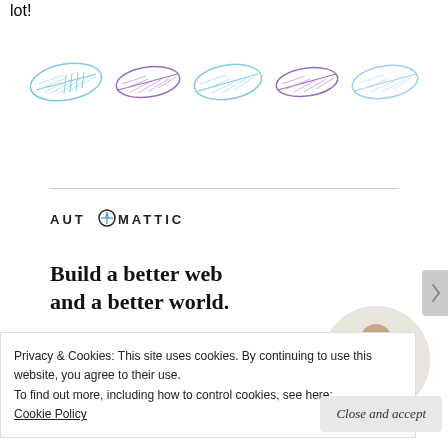lot!
[Figure (illustration): A decorative row of five illustrated feathers alternating between blue and purple colors]
[Figure (logo): Automattic logo with stylized compass icon replacing the letter O]
Build a better web and a better world.
[Figure (photo): Circular cropped photo of a man with glasses and beard looking upward thoughtfully]
[Figure (other): Blue Apply button]
Privacy & Cookies: This site uses cookies. By continuing to use this website, you agree to their use.
To find out more, including how to control cookies, see here:
Cookie Policy
Close and accept